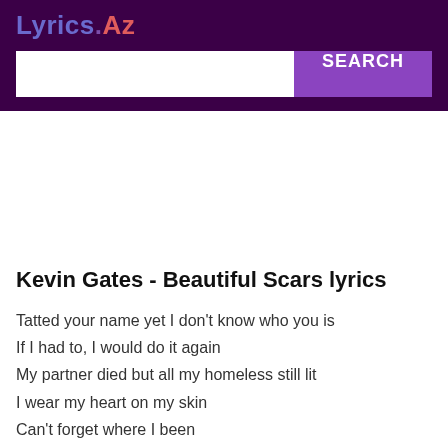Lyrics.Az
Kevin Gates - Beautiful Scars lyrics
Tatted your name yet I don't know who you is
If I had to, I would do it again
My partner died but all my homeless still lit
I wear my heart on my skin
Can't forget where I been
You can see my beautiful...